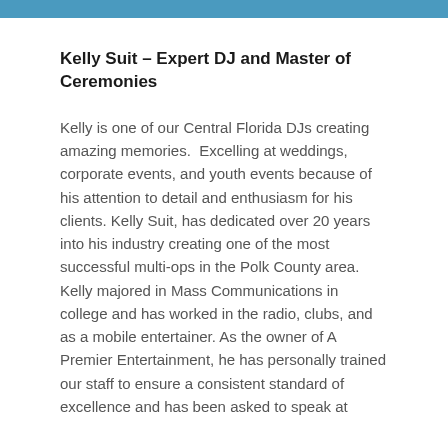Kelly Suit – Expert DJ and Master of Ceremonies
Kelly is one of our Central Florida DJs creating amazing memories.  Excelling at weddings, corporate events, and youth events because of his attention to detail and enthusiasm for his clients. Kelly Suit, has dedicated over 20 years into his industry creating one of the most successful multi-ops in the Polk County area. Kelly majored in Mass Communications in college and has worked in the radio, clubs, and as a mobile entertainer. As the owner of A Premier Entertainment, he has personally trained our staff to ensure a consistent standard of excellence and has been asked to speak at